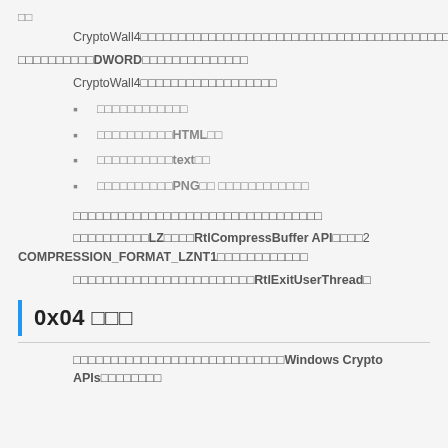□□
CryptoWall4□□□□□□□□□□□□□□□□□□□□□□□□□□□□□□□□□□□□□□□□□□□□□□□□□□□□□□□□□□□□□□□□□□□
□□□□□□□□□□DWORD□□□□□□□□□□□□□□
CryptoWall4□□□□□□□□□□□□□□□□□□
□□□□□□□□□□□□
□□□□□□□□□□HTML□□
□□□□□□□□□□text□□
□□□□□□□□□□PNG□□ □□□□□□□□□□□□
□□□□□□□□□□□□□□□□□□□□□□□□□□□□□□□□□
□□□□□□□□□□LZ□□□□RtlCompressBuffer API□□□□2 COMPRESSION_FORMAT_LZNT1□□□□□□□□□□□□
□□□□□□□□□□□□□□□□□□□□□□□□RtlExitUserThread□
0x04 □□□
□□□□□□□□□□□□□□□□□□□□□□□□□□□□Windows Crypto APIs□□□□□□□□